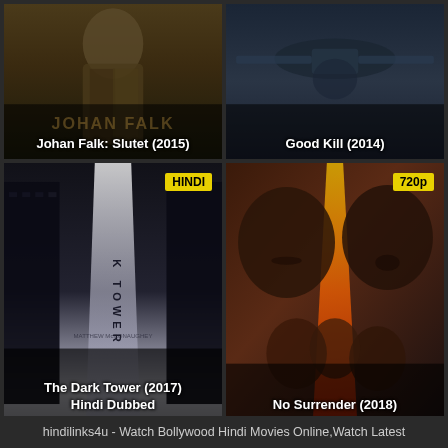[Figure (screenshot): Movie thumbnail grid showing 4 movie posters: Johan Falk: Slutet (2015), Good Kill (2014), The Dark Tower (2017) Hindi Dubbed with HINDI badge, No Surrender (2018) with 720p badge]
hindilinks4u - Watch Bollywood Hindi Movies Online,Watch Latest